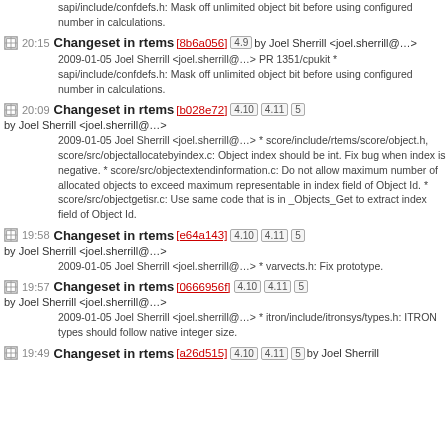sapi/include/confdefs.h: Mask off unlimited object bit before using configured number in calculations.
20:15 Changeset in rtems [8b6a056] 4.9 by Joel Sherrill <joel.sherrill@…>
2009-01-05 Joel Sherrill <joel.sherrill@…> PR 1351/cpukit * sapi/include/confdefs.h: Mask off unlimited object bit before using configured number in calculations.
20:09 Changeset in rtems [b028e72] 4.10 4.11 5 by Joel Sherrill <joel.sherrill@…>
2009-01-05 Joel Sherrill <joel.sherrill@…> * score/include/rtems/score/object.h, score/src/objectallocatebyindex.c: Object index should be int. Fix bug when index is negative. * score/src/objectextendinformation.c: Do not allow maximum number of allocated objects to exceed maximum representable in index field of Object Id. * score/src/objectgetisr.c: Use same code that is in _Objects_Get to extract index field of Object Id.
19:58 Changeset in rtems [e64a143] 4.10 4.11 5 by Joel Sherrill <joel.sherrill@…>
2009-01-05 Joel Sherrill <joel.sherrill@…> * varvects.h: Fix prototype.
19:57 Changeset in rtems [0666956f] 4.10 4.11 5 by Joel Sherrill <joel.sherrill@…>
2009-01-05 Joel Sherrill <joel.sherrill@…> * itron/include/itronsys/types.h: ITRON types should follow native integer size.
19:49 Changeset in rtems [a26d515] 4.10 4.11 5 by Joel Sherrill